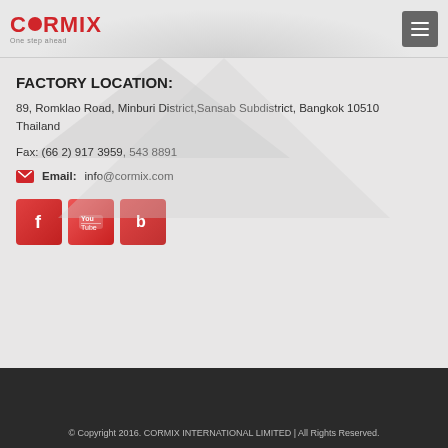CORMIX — One step ahead
FACTORY LOCATION:
89, Romklao Road, Minburi District,Sansab Subdistrict, Bangkok 10510 Thailand
Fax: (66 2) 917 3959, 543 8891
Email: info@cormix.com
[Figure (infographic): Social media icons: Facebook, YouTube, Blogger]
© Copyright 2016. CORMIX INTERNATIONAL LIMITED | All Rights Reserved.